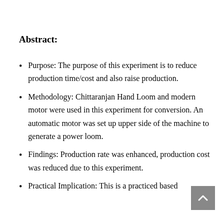Abstract:
Purpose: The purpose of this experiment is to reduce production time/cost and also raise production.
Methodology: Chittaranjan Hand Loom and modern motor were used in this experiment for conversion. An automatic motor was set up upper side of the machine to generate a power loom.
Findings: Production rate was enhanced, production cost was reduced due to this experiment.
Practical Implication: This is a practiced based